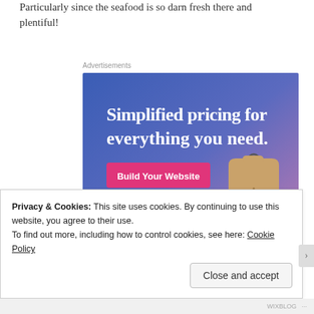Particularly since the seafood is so darn fresh there and plentiful!
Advertisements
[Figure (screenshot): Advertisement banner with gradient blue-to-purple background reading 'Simplified pricing for everything you need.' with a pink 'Build Your Website' button and a tan price tag illustration on the right.]
Privacy & Cookies: This site uses cookies. By continuing to use this website, you agree to their use.
To find out more, including how to control cookies, see here: Cookie Policy
Close and accept